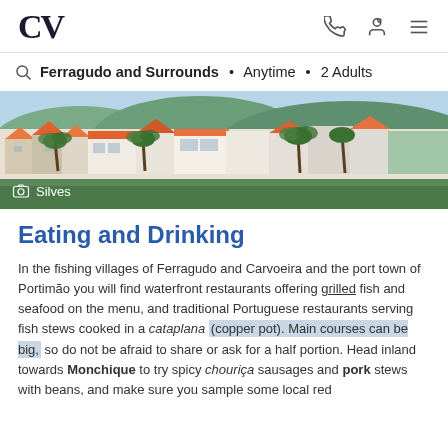CV
Ferragudo and Surrounds • Anytime • 2 Adults
[Figure (photo): Photo of Silves town with colourful buildings, orange rooftops and palm trees]
Silves
Eating and Drinking
In the fishing villages of Ferragudo and Carvoeira and the port town of Portimão you will find waterfront restaurants offering grilled fish and seafood on the menu, and traditional Portuguese restaurants serving fish stews cooked in a cataplana (copper pot). Main courses can be big, so do not be afraid to share or ask for a half portion. Head inland towards Monchique to try spicy chouriça sausages and pork stews with beans, and make sure you sample some local red